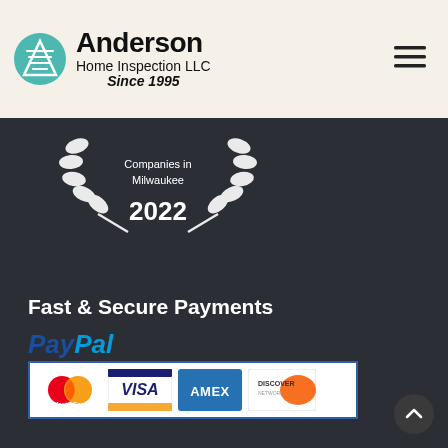Anderson Home Inspection LLC Since 1995
[Figure (logo): Anderson Home Inspection LLC logo with teal hexagon icon and company name]
[Figure (illustration): Award badge: Companies in Milwaukee 2022 with laurel wreath design]
Fast & Secure Payments
[Figure (logo): PayPal payment logo with MasterCard, Visa, AMEX, and Discover card icons in a bordered box]